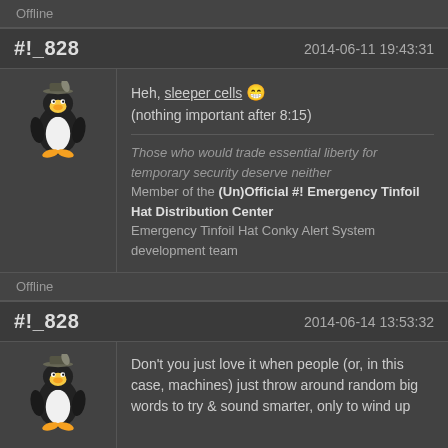Offline
#!_828    2014-06-11 19:43:31
[Figure (illustration): Tux penguin avatar with a hat]
Heh, sleeper cells 😁
(nothing important after 8:15)

Those who would trade essential liberty for temporary security deserve neither
Member of the (Un)Official #! Emergency Tinfoil Hat Distribution Center
Emergency Tinfoil Hat Conky Alert System development team
Offline
#!_828    2014-06-14 13:53:32
[Figure (illustration): Tux penguin avatar with a hat]
Don't you just love it when people (or, in this case, machines) just throw around random big words to try & sound smarter, only to wind up